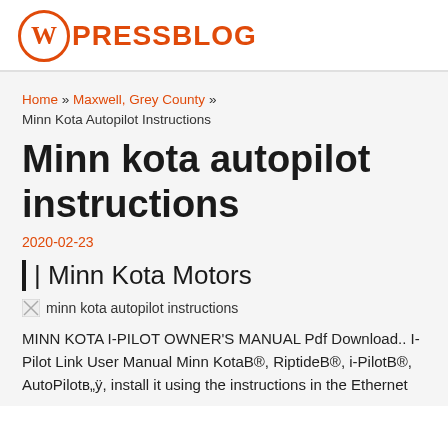WPRESSBLOG
Home » Maxwell, Grey County » Minn Kota Autopilot Instructions
Minn kota autopilot instructions
2020-02-23
| Minn Kota Motors
[Figure (photo): Broken image placeholder labeled 'minn kota autopilot instructions']
MINN KOTA I-PILOT OWNER'S MANUAL Pdf Download.. I-Pilot Link User Manual Minn KotaB®, RiptideB®, i-PilotB®, AutoPilotв„ÿ, install it using the instructions in the Ethernet